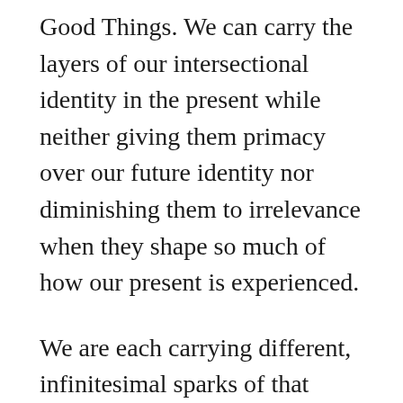Good Things. We can carry the layers of our intersectional identity in the present while neither giving them primacy over our future identity nor diminishing them to irrelevance when they shape so much of how our present is experienced.
We are each carrying different, infinitesimal sparks of that incomprehensible glory, and only by recognizing our true position, as a member of a warring faction that is only now learning to lay down their arms, as a humble creature that has far more to learn than it has to teach, can we share a true Gospel laden with future hope that speaks to a present reality